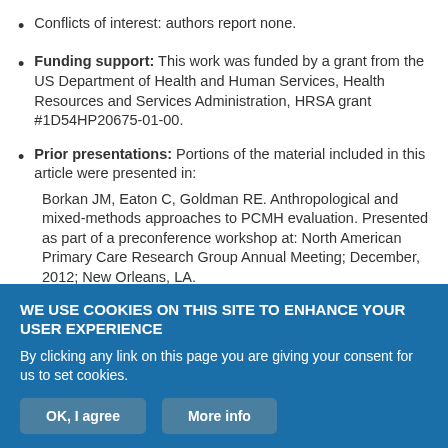Conflicts of interest: authors report none.
Funding support: This work was funded by a grant from the US Department of Health and Human Services, Health Resources and Services Administration, HRSA grant #1D54HP20675-01-00.
Prior presentations: Portions of the material included in this article were presented in:
Borkan JM, Eaton C, Goldman RE. Anthropological and mixed-methods approaches to PCMH evaluation. Presented as part of a preconference workshop at: North American Primary Care Research Group Annual Meeting; December, 2012; New Orleans, LA.
WE USE COOKIES ON THIS SITE TO ENHANCE YOUR USER EXPERIENCE
By clicking any link on this page you are giving your consent for us to set cookies.